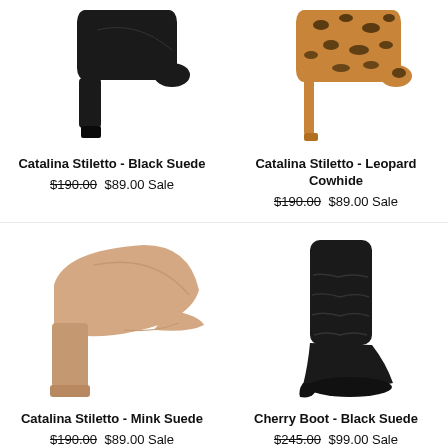[Figure (photo): Black suede stiletto heel shoe, top portion visible]
Catalina Stiletto - Black Suede
$190.00 $89.00 Sale
[Figure (photo): Leopard cowhide stiletto heel shoe, top portion visible]
Catalina Stiletto - Leopard Cowhide
$190.00 $89.00 Sale
[Figure (photo): Mink/nude suede block heel pump shoe]
Catalina Stiletto - Mink Suede
$190.00 $89.00 Sale
[Figure (photo): Black suede slouchy knee-high boot with wedge heel]
Cherry Boot - Black Suede
$245.00 $99.00 Sale